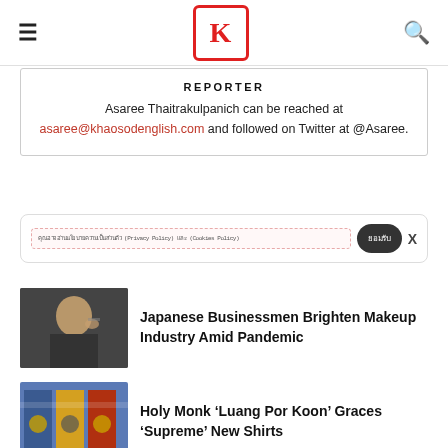Khaosod English — navigation header with menu and search icons
REPORTER
Asaree Thaitrakulpanich can be reached at asaree@khaosodenglish.com and followed on Twitter at @Asaree.
Cookie consent banner with Privacy Policy and Cookies Policy links and accept button
[Figure (photo): Photo of a Japanese businessman applying makeup]
Japanese Businessmen Brighten Makeup Industry Amid Pandemic
[Figure (photo): Photo showing colorful t-shirts with monk imagery and Supreme branding]
Holy Monk ‘Luang Por Koon’ Graces ‘Supreme’ New Shirts